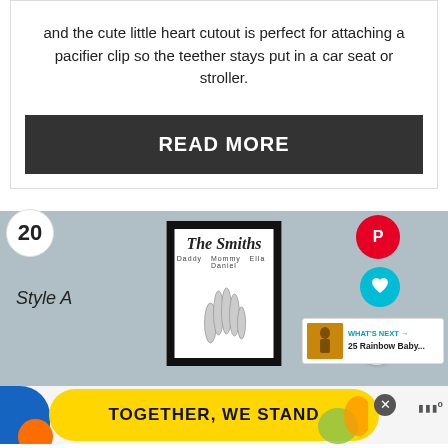and the cute little heart cutout is perfect for attaching a pacifier clip so the teether stays put in a car seat or stroller.
READ MORE
[Figure (photo): Product image of a framed fingerprint family portrait print labeled 'The Smiths' with names Daddy Mommy Ella Daniel, shown in a gray background. Overlay UI elements include number badge '20', Pinterest button, heart button, share button, and a 'WHAT'S NEXT' panel showing '25 Rainbow Baby...']
[Figure (infographic): Advertisement bar reading 'TOGETHER, WE STAND' with colorful blob shape, close button, and logo]